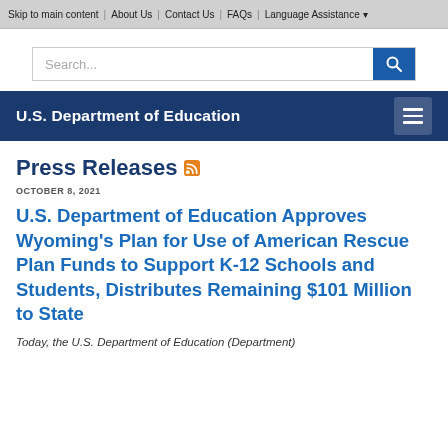Skip to main content | About Us | Contact Us | FAQs | Language Assistance
[Figure (screenshot): Search bar with text input and blue search button]
U.S. Department of Education
Press Releases
OCTOBER 8, 2021
U.S. Department of Education Approves Wyoming's Plan for Use of American Rescue Plan Funds to Support K-12 Schools and Students, Distributes Remaining $101 Million to State
Today, the U.S. Department of Education (Department)